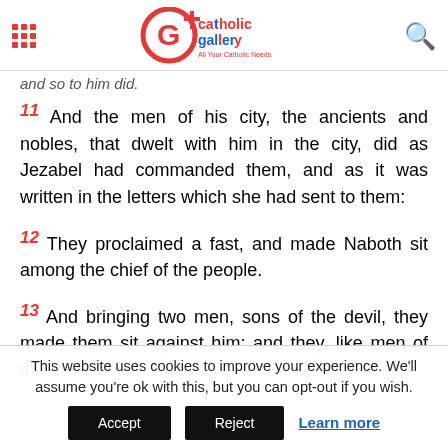Catholic Gallery - All Your Catholic Needs
and so to him did.
11 And the men of his city, the ancients and nobles, that dwelt with him in the city, did as Jezabel had commanded them, and as it was written in the letters which she had sent to them:
12 They proclaimed a fast, and made Naboth sit among the chief of the people.
13 And bringing two men, sons of the devil, they made them sit against him: and they, like men of the devil, bore
This website uses cookies to improve your experience. We'll assume you're ok with this, but you can opt-out if you wish.